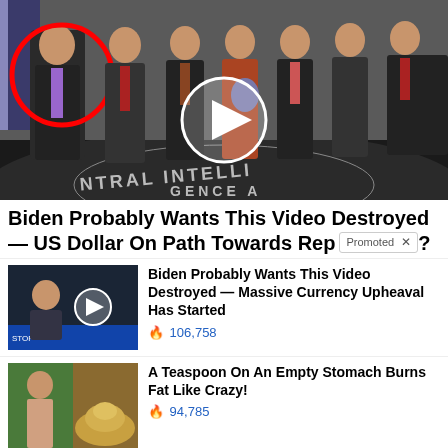[Figure (photo): Group photo of men in suits standing in front of CIA headquarters seal on floor. One man on the left is circled in red. A white play button circle overlay is in the center of the image.]
Biden Probably Wants This Video Destroyed — US Dollar On Path Towards Rep[lacement]?
[Figure (screenshot): Promoted content ad unit. Thumbnail of man being interviewed with play button overlay. Text: Biden Probably Wants This Video Destroyed — Massive Currency Upheaval Has Started. 106,758 engagements.]
[Figure (screenshot): Promoted content ad unit. Thumbnail showing woman and spice powder. Text: A Teaspoon On An Empty Stomach Burns Fat Like Crazy! 94,785 engagements.]